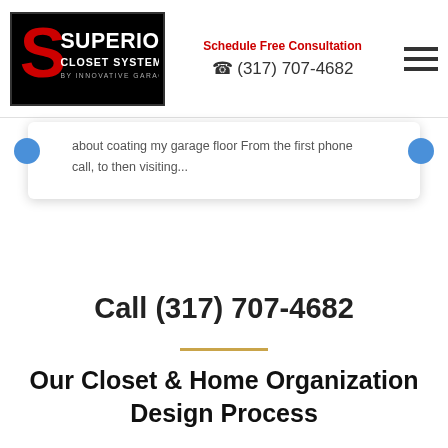[Figure (logo): Superior Closet Systems by Innovative Garages logo — red S on black background with white text]
Schedule Free Consultation
☎ (317) 707-4682
about coating my garage floor From the first phone call, to then visiting...
Call (317) 707-4682
Our Closet & Home Organization Design Process